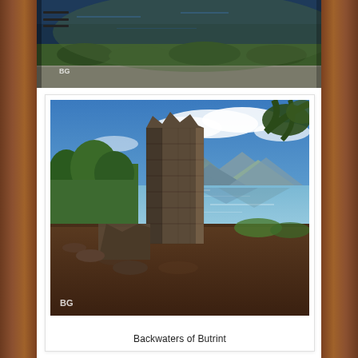[Figure (photo): Landscape photo showing water/river with vegetation and hills, partially cropped at top of page. Watermark 'BG' visible.]
[Figure (photo): Photo of ancient stone ruins/tower on the backwaters of Butrint, Albania, with blue sky, mountains, and calm water in background. Watermark 'BG' visible in lower left.]
Backwaters of Butrint